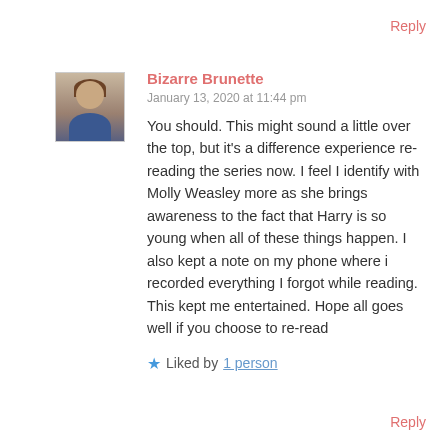Reply
[Figure (photo): Small avatar photo of Bizarre Brunette — a young woman with dark hair wearing a blue top]
Bizarre Brunette
January 13, 2020 at 11:44 pm
You should. This might sound a little over the top, but it's a difference experience re-reading the series now. I feel I identify with Molly Weasley more as she brings awareness to the fact that Harry is so young when all of these things happen. I also kept a note on my phone where i recorded everything I forgot while reading. This kept me entertained. Hope all goes well if you choose to re-read
★ Liked by 1 person
Reply